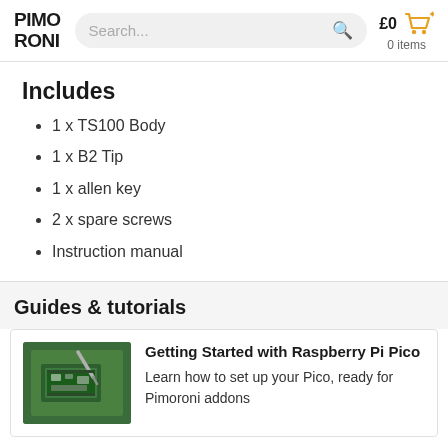PIMORONI | Search... | £0 0 items
Includes
1 x TS100 Body
1 x B2 Tip
1 x allen key
2 x spare screws
Instruction manual
Guides & tutorials
[Figure (photo): Photo of a Raspberry Pi Pico being soldered on a green cutting mat]
Getting Started with Raspberry Pi Pico
Learn how to set up your Pico, ready for Pimoroni addons